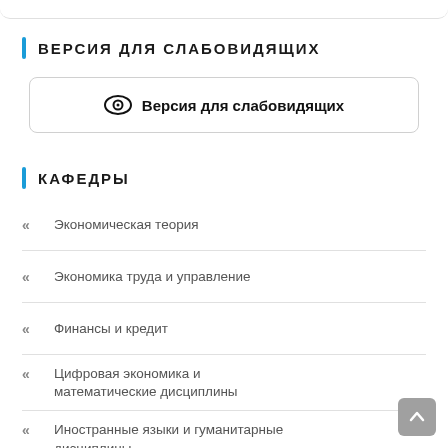ВЕРСИЯ ДЛЯ СЛАБОВИДЯЩИХ
[Figure (other): Button with eye icon: Версия для слабовидящих]
КАФЕДРЫ
Экономическая теория
Экономика труда и управление
Финансы и кредит
Цифровая экономика и математические дисциплины
Иностранные языки и гуманитарные дисциплины